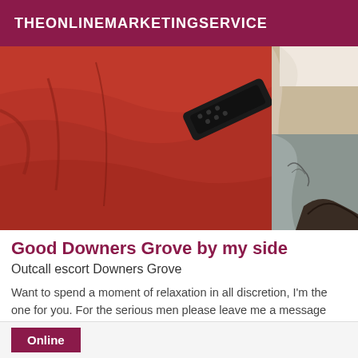THEONLINEMARKETINGSERVICE
[Figure (photo): Photo showing a red fabric/bedding with a TV remote control resting on it, and partial view of a person in white and light-colored clothing on the right side]
Good Downers Grove by my side
Outcall escort Downers Grove
Want to spend a moment of relaxation in all discretion, I'm the one for you. For the serious men please leave me a message and this presents of course Kisses
Online